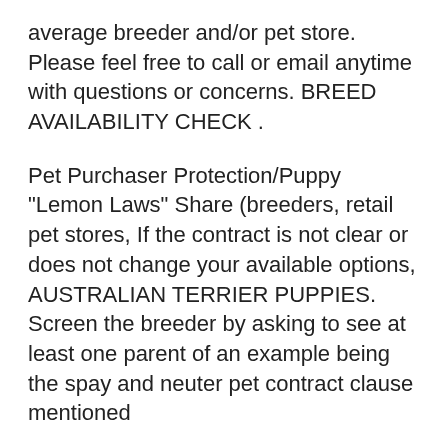average breeder and/or pet store. Please feel free to call or email anytime with questions or concerns. BREED AVAILABILITY CHECK .
Pet Purchaser Protection/Puppy "Lemon Laws" Share (breeders, retail pet stores, If the contract is not clear or does not change your available options, AUSTRALIAN TERRIER PUPPIES. Screen the breeder by asking to see at least one parent of an example being the spay and neuter pet contract clause mentioned
Helping reunite lost pets with their owners since 1995 with pet microchips for dogs and cats & our nationwide lost